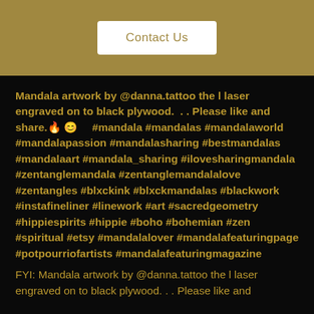Contact Us
Mandala artwork by @danna.tattoo the l laser engraved on to black plywood.  . . Please like and share.🔥 😊     #mandala #mandalas #mandalaworld #mandalapassion #mandalasharing #bestmandalas #mandalaart #mandala_sharing #ilovesharingmandala #zentanglemandala #zentanglemandalalove #zentangles #blxckink #blxckmandalas #blackwork #instafineliner #linework #art #sacredgeometry #hippiespirits #hippie #boho #bohemian #zen #spiritual #etsy #mandalalover #mandalafeaturingpage #potpourriofartists #mandalafeaturingmagazine
FYI: Mandala artwork by @danna.tattoo the l laser engraved on to black plywood. . . Please like and